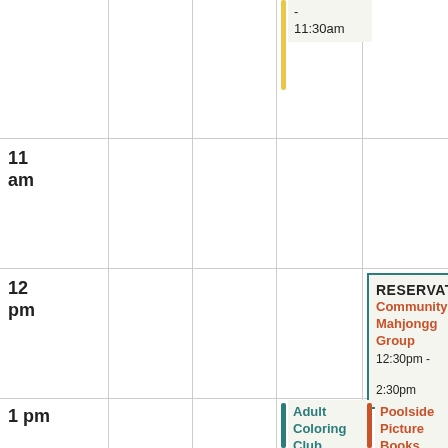| Time | Col1 | Col2 | Col3 | Col4 |
| --- | --- | --- | --- | --- |
| (10am) |  |  | - 11:30am |  |
| 11 am |  |  |  |  |
| 12 pm |  |  |  | RESERVATION Community Mahjongg Group 12:30pm - 2:30pm |
| 1 pm |  |  | Adult Coloring Club 1:00pm - 2:30pm | Poolside Picture Books 1:00pm - 1:45pm |